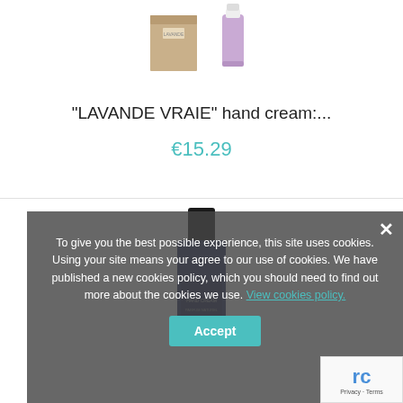[Figure (photo): Two product images: a kraft paper box/package on the left and a lavender-colored hand cream tube on the right]
"LAVANDE VRAIE" hand cream:...
€15.29
[Figure (photo): Dark blue glass perfume/fragrance bottle with black cap, partially obscured by cookie consent overlay]
To give you the best possible experience, this site uses cookies. Using your site means your agree to our use of cookies. We have published a new cookies policy, which you should need to find out more about the cookies we use. View cookies policy.
Accept